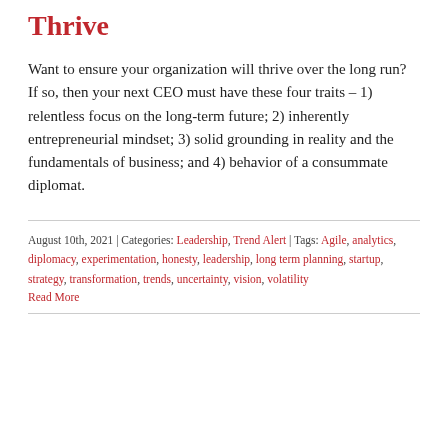Thrive
Want to ensure your organization will thrive over the long run? If so, then your next CEO must have these four traits – 1) relentless focus on the long-term future; 2) inherently entrepreneurial mindset; 3) solid grounding in reality and the fundamentals of business; and 4) behavior of a consummate diplomat.
August 10th, 2021 | Categories: Leadership, Trend Alert | Tags: Agile, analytics, diplomacy, experimentation, honesty, leadership, long term planning, startup, strategy, transformation, trends, uncertainty, vision, volatility
Read More